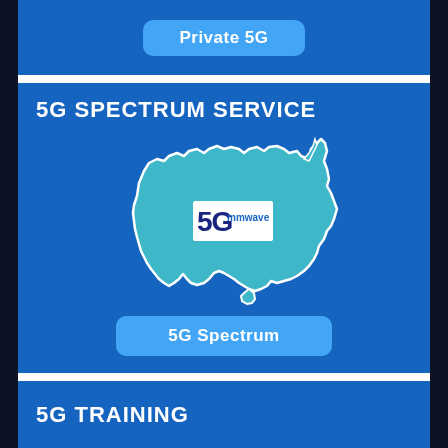Private 5G
5G SPECTRUM SERVICE
[Figure (map): Outline map of Australia filled with teal/cyan color on a blue background, with a white 5G mmwave logo box centered on the map.]
5G Spectrum
5G TRAINING